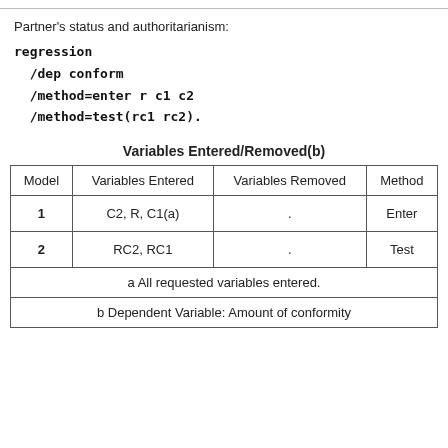Partner's status and authoritarianism:
regression
  /dep conform
  /method=enter r c1 c2
  /method=test(rc1 rc2).
Variables Entered/Removed(b)
| Model | Variables Entered | Variables Removed | Method |
| --- | --- | --- | --- |
| 1 | C2, R, C1(a) | . | Enter |
| 2 | RC2, RC1 | . | Test |